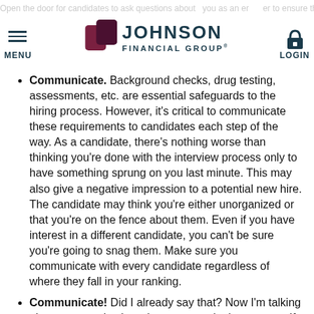Open the door for candidates to ask questions about you as an employer to ensure the role is a mutual fit. | JOHNSON FINANCIAL GROUP | MENU | LOGIN
Communicate. Background checks, drug testing, assessments, etc. are essential safeguards to the hiring process. However, it's critical to communicate these requirements to candidates each step of the way. As a candidate, there's nothing worse than thinking you're done with the interview process only to have something sprung on you last minute. This may also give a negative impression to a potential new hire. The candidate may think you're either unorganized or that you're on the fence about them. Even if you have interest in a different candidate, you can't be sure you're going to snag them. Make sure you communicate with every candidate regardless of where they fall in your ranking.
Communicate! Did I already say that? Now I'm talking about communicating where you are in the process. If you're still interviewing and weeks have gone by, reach